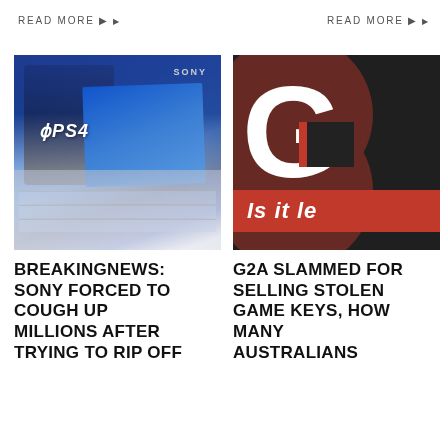READ MORE ▶
READ MORE ▶
[Figure (photo): Stacked Sony PS4 console boxes in blue packaging]
[Figure (logo): G2A logo on dark background with red arc design and text 'Is it le']
BREAKINGNEWS: SONY FORCED TO COUGH UP MILLIONS AFTER TRYING TO RIP OFF
G2A SLAMMED FOR SELLING STOLEN GAME KEYS, HOW MANY AUSTRALIANS